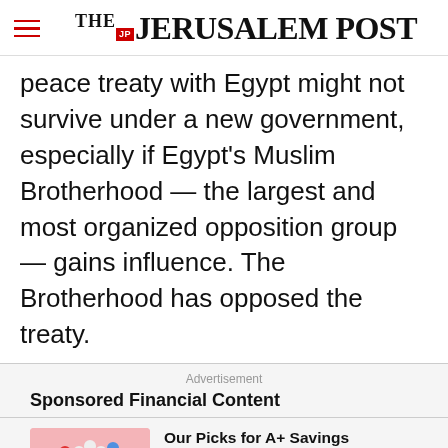THE JERUSALEM POST
peace treaty with Egypt might not survive under a new government, especially if Egypt's Muslim Brotherhood — the largest and most organized opposition group — gains influence. The Brotherhood has opposed the treaty.
Advertisement
Sponsored Financial Content
[Figure (illustration): Colorful illustration of flowers (red, white, and blue) in a dark pot on a pink background]
Our Picks for A+ Savings Accounts Offer Up to 11X Average APY
NerdWallet
Advertisement